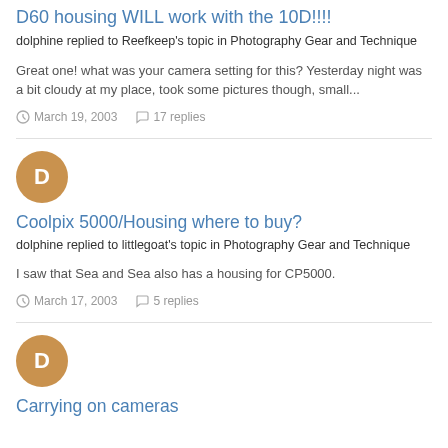D60 housing WILL work with the 10D!!!!
dolphine replied to Reefkeep's topic in Photography Gear and Technique
Great one! what was your camera setting for this? Yesterday night was a bit cloudy at my place, took some pictures though, small...
March 19, 2003   17 replies
[Figure (illustration): Avatar circle with letter D, tan/brown color]
Coolpix 5000/Housing where to buy?
dolphine replied to littlegoat's topic in Photography Gear and Technique
I saw that Sea and Sea also has a housing for CP5000.
March 17, 2003   5 replies
[Figure (illustration): Avatar circle with letter D, tan/brown color]
Carrying on cameras